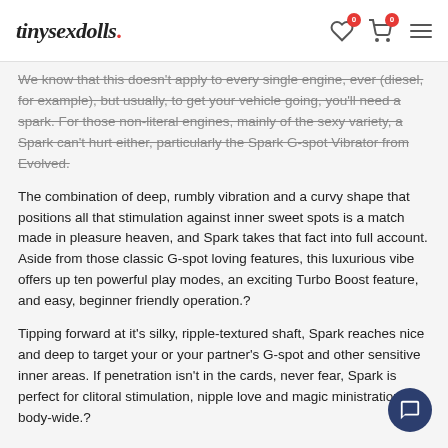tinysexdolls.
We know that this doesn't apply to every single engine, ever (diesel, for example), but usually, to get your vehicle going, you'll need a spark. For those non-literal engines, mainly of the sexy variety, a Spark can't hurt either, particularly the Spark G-spot Vibrator from Evolved.
The combination of deep, rumbly vibration and a curvy shape that positions all that stimulation against inner sweet spots is a match made in pleasure heaven, and Spark takes that fact into full account. Aside from those classic G-spot loving features, this luxurious vibe offers up ten powerful play modes, an exciting Turbo Boost feature, and easy, beginner friendly operation.?
Tipping forward at it's silky, ripple-textured shaft, Spark reaches nice and deep to target your or your partner's G-spot and other sensitive inner areas. If penetration isn't in the cards, never fear, Spark is perfect for clitoral stimulation, nipple love and magic ministrations body-wide.?